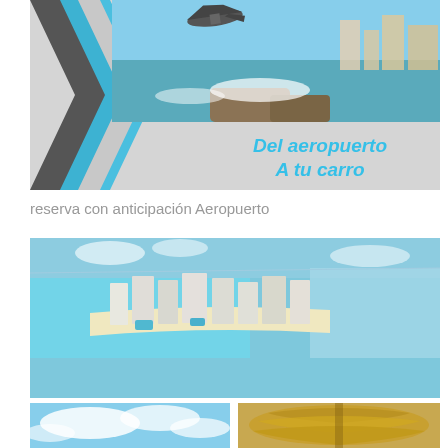[Figure (photo): Promotional banner showing a plane landing over a beach (St. Maarten style), with blue and gray diagonal chevron on left, and text overlay 'Del aeropuerto A tu carro' in blue italic text on gray background]
reserva con anticipación Aeropuerto
[Figure (photo): Aerial view of Cancun hotel zone beach strip with turquoise water, white sand, and high-rise hotels along the coastline]
[Figure (photo): Two small photos at bottom: left shows blue sky with clouds, right shows a thatched palapa/beach hut roof]